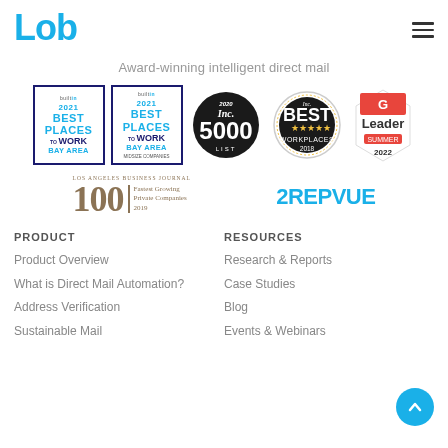[Figure (logo): Lob company logo in blue]
Award-winning intelligent direct mail
[Figure (infographic): Row of award badges: builtin 2021 Best Places to Work Bay Area (x2), Inc. 5000 2020 List, Inc. Best Workplaces 2018, G2 Leader Summer 2022]
[Figure (infographic): Los Angeles Business Journal 100 Fastest Growing Private Companies 2019 logo and RepVue logo]
PRODUCT
Product Overview
What is Direct Mail Automation?
Address Verification
Sustainable Mail
RESOURCES
Research & Reports
Case Studies
Blog
Events & Webinars